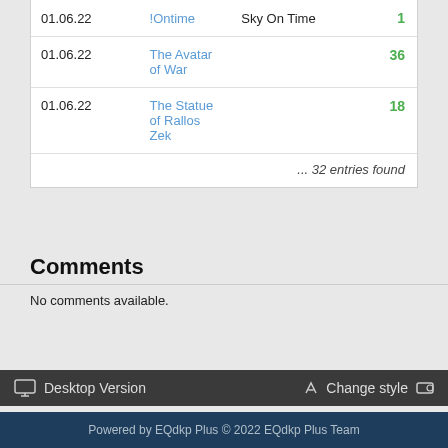| Date | Name | Label | Value |
| --- | --- | --- | --- |
| 01.06.22 | !Ontime | Sky On Time | 1 |
| 01.06.22 | The Avatar of War |  | 36 |
| 01.06.22 | The Statue of Rallos Zek |  | 18 |
... 32 entries found
Comments
No comments available.
Desktop Version   Change style
Powered by EQdkp Plus © 2022 EQdkp Plus Team